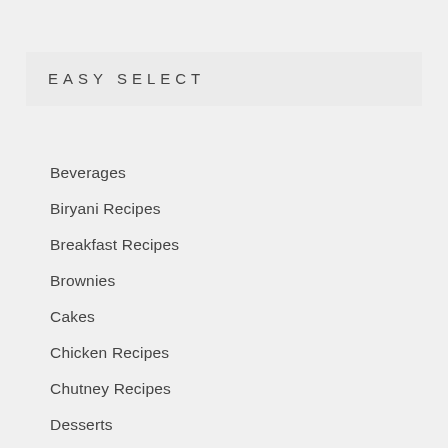EASY SELECT
Beverages
Biryani Recipes
Breakfast Recipes
Brownies
Cakes
Chicken Recipes
Chutney Recipes
Desserts
Easy No Bake Recipes
Egg Recipes
Eggless Bakes
Healthy Recipes